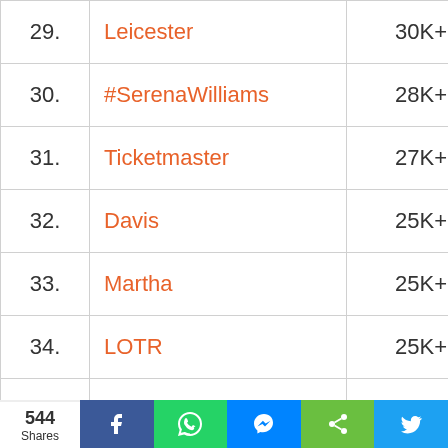| Rank | Name | Count |
| --- | --- | --- |
| 29. | Leicester | 30K+ |
| 30. | #SerenaWilliams | 28K+ |
| 31. | Ticketmaster | 27K+ |
| 32. | Davis | 25K+ |
| 33. | Martha | 25K+ |
| 34. | LOTR | 25K+ |
| 35. | #WWECastle | 25K+ |
| 36. | Hail Hail | 25K+ |
| 37. | Zimbabwe | 24K+ |
| 38. | Alpine | 24K+ |
544 Shares